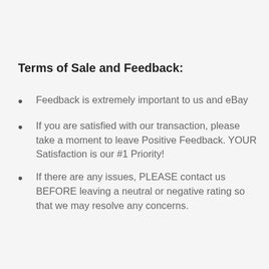Terms of Sale and Feedback:
Feedback is extremely important to us and eBay
If you are satisfied with our transaction, please take a moment to leave Positive Feedback. YOUR Satisfaction is our #1 Priority!
If there are any issues, PLEASE contact us BEFORE leaving a neutral or negative rating so that we may resolve any concerns.